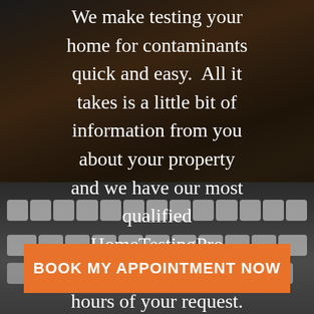[Figure (photo): Dark background with wood texture at top and a silver keyboard at the bottom. White text overlaid in the center describing HomeTestingPro services.]
We make testing your home for contaminants quick and easy.  All it takes is a little bit of information from you about your property and we have our most qualified HomeTestingPro contact you within 48 hours of your request.
BOOK MY APPOINTMENT NOW